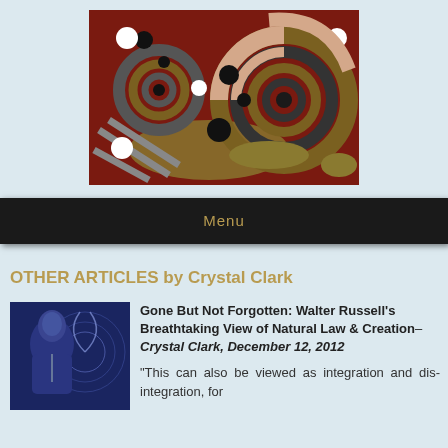[Figure (illustration): Abstract swirling artwork with dark red background and colorful spiral patterns in gray, gold, tan, black and white]
Menu
OTHER ARTICLES by Crystal Clark
[Figure (photo): Photo of a man (Walter Russell) combined with a blue-toned spiral/galaxy diagram in background]
Gone But Not Forgotten: Walter Russell's Breathtaking View of Natural Law & Creation–Crystal Clark, December 12, 2012
"This can also be viewed as integration and dis-integration, for